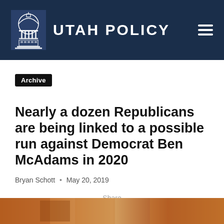UTAH POLICY
Archive
Nearly a dozen Republicans are being linked to a possible run against Democrat Ben McAdams in 2020
Bryan Schott · May 20, 2019
Share
[Figure (photo): Orange/brown toned image at the bottom of the page, partially visible]